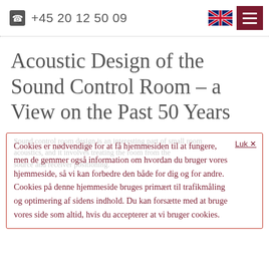+45 20 12 50 09
Acoustic Design of the Sound Control Room – a View on the Past 50 Years
Cookies er nødvendige for at få hjemmesiden til at fungere, men de gemmer også information om hvordan du bruger vores hjemmeside, så vi kan forbedre den både for dig og for andre. Cookies på denne hjemmeside bruges primært til trafikmåling og optimering af sidens indhold. Du kan forsætte med at bruge vores side som altid, hvis du accepterer at vi bruger cookies.